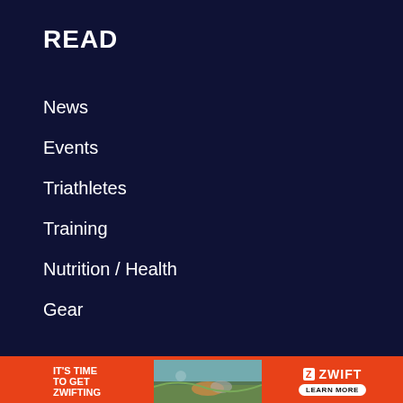READ
News
Events
Triathletes
Training
Nutrition / Health
Gear
TRI247
Newsletter
Work with us
Charity Packages
[Figure (infographic): Advertisement banner for Zwift - IT'S TIME TO GET ZWIFTING with a photo of cyclists on a road and Zwift logo with LEARN MORE button on orange background]